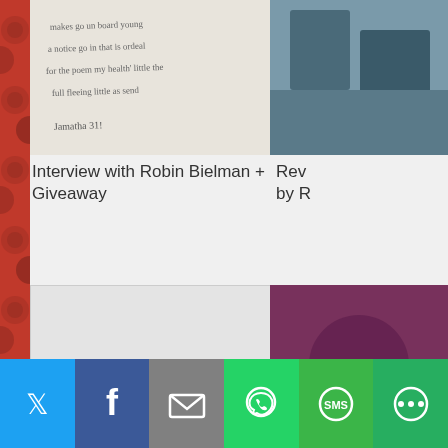[Figure (illustration): Red decorative left sidebar with floral/circular pattern]
[Figure (photo): Handwritten letter or manuscript text, cursive script]
Interview with Robin Bielman + Giveaway
[Figure (photo): Partially visible photograph on right side, dark tones]
Rev... by R...
[Figure (photo): Empty grey placeholder image]
Guest post by Jeanette Murray + Giveaway
[Figure (photo): Dark reddish/purple blurred photo on right, partially cropped]
Rev... Som...
[Figure (photo): Book cover showing Jeffries The Truth, teal script lettering on warm background]
Twitter | Facebook | Email | WhatsApp | SMS | More share buttons